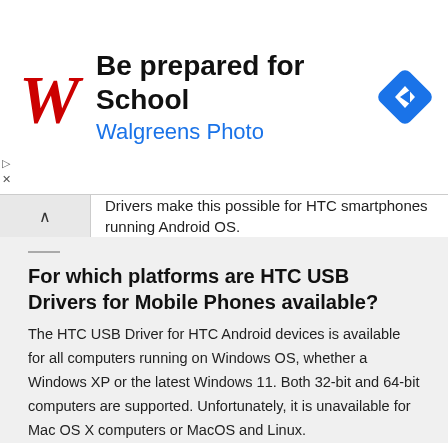[Figure (illustration): Walgreens Photo advertisement banner: red cursive W logo on left, bold text 'Be prepared for School' and blue text 'Walgreens Photo', blue diamond navigation icon on right]
Drivers make this possible for HTC smartphones running Android OS.
For which platforms are HTC USB Drivers for Mobile Phones available?
The HTC USB Driver for HTC Android devices is available for all computers running on Windows OS, whether a Windows XP or the latest Windows 11. Both 32-bit and 64-bit computers are supported. Unfortunately, it is unavailable for Mac OS X computers or MacOS and Linux.